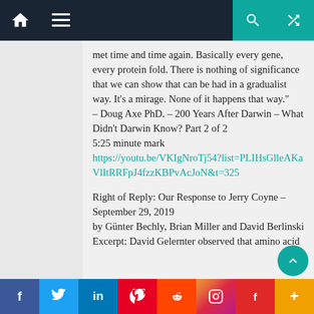Navigation bar with home, menu, search, shuffle icons
met time and time again. Basically every gene, every protein fold. There is nothing of significance that we can show that can be had in a gradualist way. It’s a mirage. None of it happens that way."
– Doug Axe PhD. – 200 Years After Darwin – What Didn’t Darwin Know? Part 2 of 2
5:25 minute mark
https://youtu.be/VKIgNroTj54?list=PLIHsGlleAKaVlItRRFpJ4fzzKBPvAcJoN&t=325
Right of Reply: Our Response to Jerry Coyne – September 29, 2019
by Günter Bechly, Brian Miller and David Berlinski
Excerpt: David Gelernter observed that amino acid
f  Twitter  in  Pinterest  Reddit  Instagram  Flipboard  +